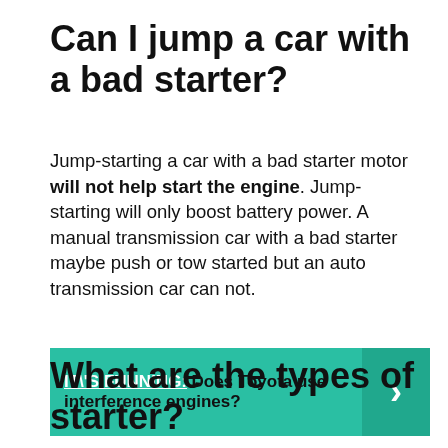Can I jump a car with a bad starter?
Jump-starting a car with a bad starter motor will not help start the engine. Jump-starting will only boost battery power. A manual transmission car with a bad starter maybe push or tow started but an auto transmission car can not.
[Figure (infographic): Teal banner with link text 'IT\'S FUNNING:' followed by bold text 'Does Toyota use interference engines?' and a right-arrow chevron on the right side]
What are the types of starter?